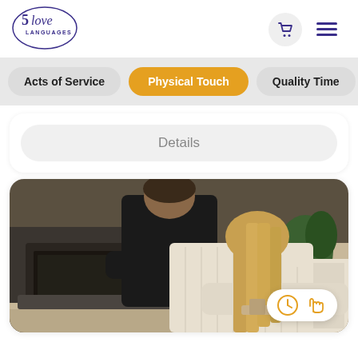[Figure (logo): 5 Love Languages logo — circular with script text]
[Figure (infographic): Navigation bar with tabs: Acts of Service, Physical Touch (active/orange), Quality Time (partially visible)]
Details
[Figure (photo): Couple cooking together in kitchen; woman with blonde hair in cream sweater, man in black top. Two icons in bottom-right badge: clock and hand (Physical Touch language icons).]